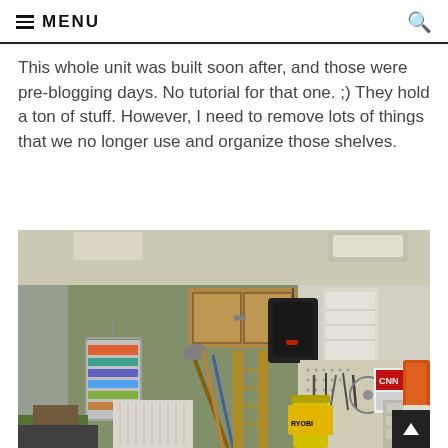MENU
This whole unit was built soon after, and those were pre-blogging days. No tutorial for that one. ;) They hold a ton of stuff. However, I need to remove lots of things that we no longer use and organize those shelves.
[Figure (photo): Interior of a cluttered garage showing tools, ladders, shovels, pegboard with tools on the right wall, yellow trash can, shelving units, and various items stored on the floor and walls.]